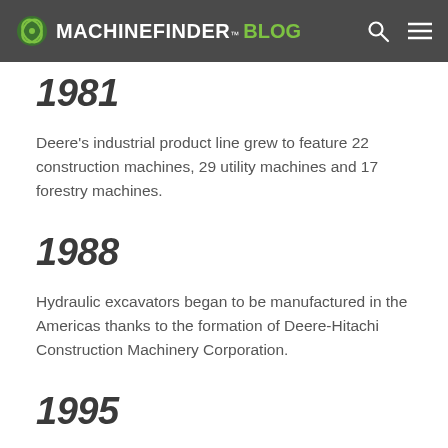MACHINEFINDER™ BLOG
1981
Deere's industrial product line grew to feature 22 construction machines, 29 utility machines and 17 forestry machines.
1988
Hydraulic excavators began to be manufactured in the Americas thanks to the formation of Deere-Hitachi Construction Machinery Corporation.
1995